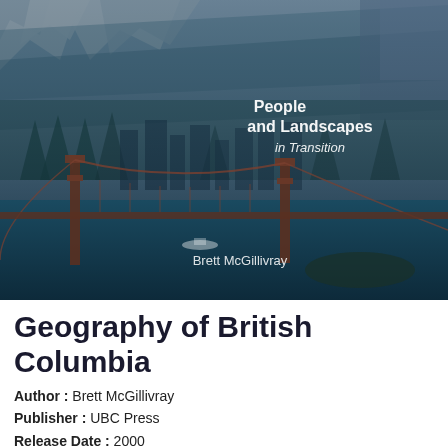[Figure (photo): Book cover image for 'Geography of British Columbia: People and Landscapes in Transition' by Brett McGillivray. Shows a composite image with snowy mountains at top, a city skyline in the middle with a teal/blue overlay, and a large suspension bridge (Lions Gate Bridge) over water in the foreground. Text on cover reads 'People and Landscapes in Transition' and 'Brett McGillivray'.]
Geography of British Columbia
Author : Brett McGillivray
Publisher : UBC Press
Release Date : 2000